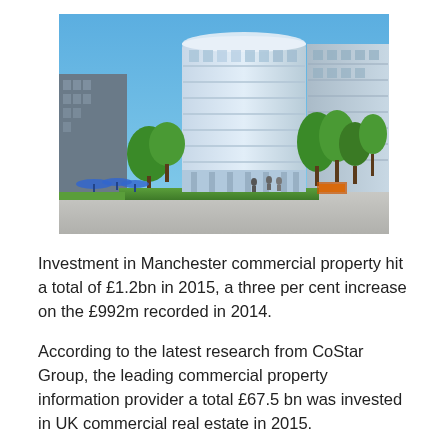[Figure (photo): Photograph of a modern curved glass office building in Manchester city centre, surrounded by trees on a sunny day with blue sky. Other office buildings visible in the background.]
Investment in Manchester commercial property hit a total of £1.2bn in 2015, a three per cent increase on the £992m recorded in 2014.
According to the latest research from CoStar Group, the leading commercial property information provider a total £67.5 bn was invested in UK commercial real estate in 2015.